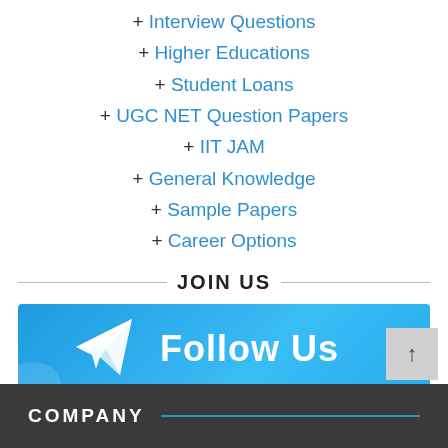+ Interview Questions
+ Higher Educations
+ Student Loans
+ UGC NET Question Papers
+ IIT JAM
+ General Knowledge
+ Sample Papers
+ Career Options
JOIN US
[Figure (illustration): Telegram Follow Us banner with paper plane icon on blue gradient background]
COMPANY